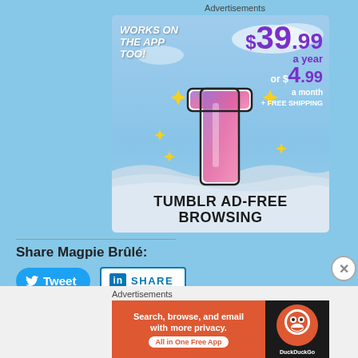Advertisements
[Figure (infographic): Tumblr AD-Free Browsing advertisement banner. Shows 'WORKS ON THE APP TOO!' text, Tumblr 't' logo with sparkles, price '$39.99 a year or $4.99 a month + FREE SHIPPING', and 'TUMBLR AD-FREE BROWSING' text at bottom.]
Share Magpie Brûlé:
[Figure (infographic): Tweet button (blue rounded), LinkedIn SHARE button (white with blue border)]
[Figure (infographic): Tumblr Post button (dark navy), Pinterest Save button (red rounded)]
Advertisements
[Figure (infographic): DuckDuckGo advertisement: 'Search, browse, and email with more privacy. All in One Free App' on orange background with DuckDuckGo logo on dark background.]